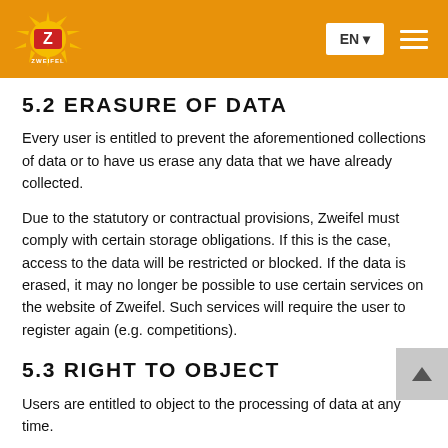Zweifel website header with logo, EN language selector, and menu button
5.2 ERASURE OF DATA
Every user is entitled to prevent the aforementioned collections of data or to have us erase any data that we have already collected.
Due to the statutory or contractual provisions, Zweifel must comply with certain storage obligations. If this is the case, access to the data will be restricted or blocked. If the data is erased, it may no longer be possible to use certain services on the website of Zweifel. Such services will require the user to register again (e.g. competitions).
5.3 RIGHT TO OBJECT
Users are entitled to object to the processing of data at any time.
5.4 WITHDRAWAL OF CONSENT